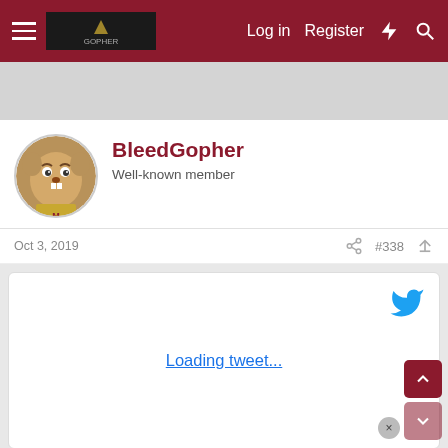Navigation bar with hamburger menu, logo, Log in, Register, and icons
[Figure (screenshot): Gray advertisement banner area]
BleedGopher
Well-known member
Oct 3, 2019   #338
[Figure (screenshot): Embedded tweet loading area with Twitter bird icon and 'Loading tweet...' link text]